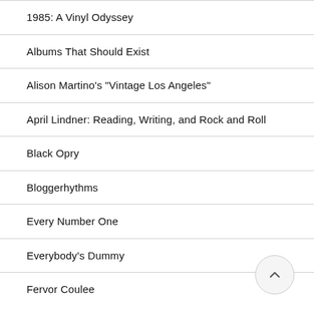1985: A Vinyl Odyssey
Albums That Should Exist
Alison Martino's "Vintage Los Angeles"
April Lindner: Reading, Writing, and Rock and Roll
Black Opry
Bloggerhythms
Every Number One
Everybody's Dummy
Fervor Coulee